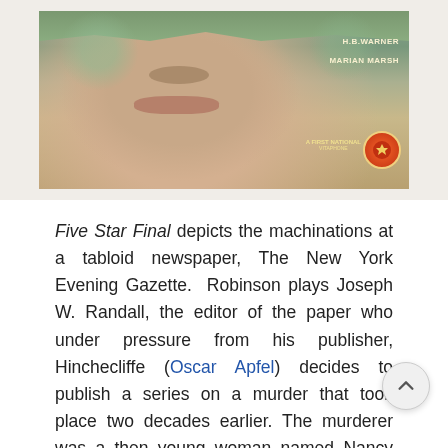[Figure (photo): Movie poster for Five Star Final showing a person's face with hands above, text overlay reading H.B. WARNER, MARIAN MARSH, A FIRST NATIONAL VITAPHONE production, with a circular red badge logo]
Five Star Final depicts the machinations at a tabloid newspaper, The New York Evening Gazette.  Robinson plays Joseph W. Randall, the editor of the paper who under pressure from his publisher, Hinchecliffe (Oscar Apfel) decides to publish a series on a murder that took place two decades earlier. The murderer was a then young woman named Nancy Voorhees who was acquitted after shooting the man who got her pregnant and then refused to marry her.  Churning up the details of the murder, which had splashed all over the tabloids, mea... destroying Voorhees' life after she'd gone to great lengths to start anew as well as destroying the life of her daughter